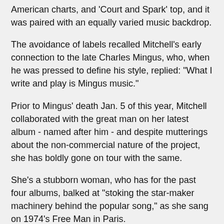American charts, and 'Court and Spark' top, and it was paired with an equally varied music backdrop.
The avoidance of labels recalled Mitchell's early connection to the late Charles Mingus, who, when he was pressed to define his style, replied: "What I write and play is Mingus music."
Prior to Mingus' death Jan. 5 of this year, Mitchell collaborated with the great man on her latest album - named after him - and despite mutterings about the non-commercial nature of the project, she has boldly gone on tour with the same.
She's a stubborn woman, who has for the past four albums, balked at "stoking the star-maker machinery behind the popular song," as she sang on 1974's Free Man in Paris.
After a string of intense, soul-baring folk-oriented albums, Mitchell in 1975 produced a demanding look at suburbia, Hissing of Summer Lawns, followed by intense experiments on Hejira and Don Juan's Reckless Daughter.